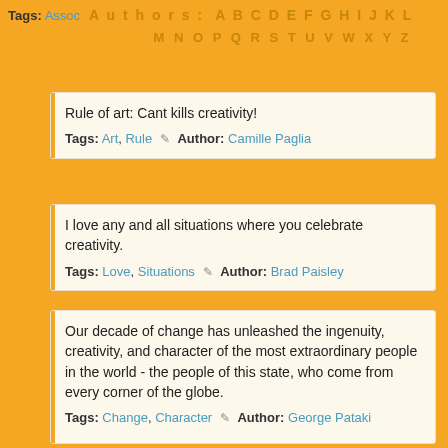Tags: Assoc  Authors: A B C D E F G H I J K L M N O P Q R S T U V W X Y Z
Rule of art: Cant kills creativity!
Tags: Art, Rule  ✎ Author: Camille Paglia
I love any and all situations where you celebrate creativity.
Tags: Love, Situations  ✎ Author: Brad Paisley
Our decade of change has unleashed the ingenuity, creativity, and character of the most extraordinary people in the world - the people of this state, who come from every corner of the globe.
Tags: Change, Character  ✎ Author: George Pataki
The chief enemy of creativity is 'good' sense.
Tags: Enemy, Good  ✎ Author: Pablo Picasso